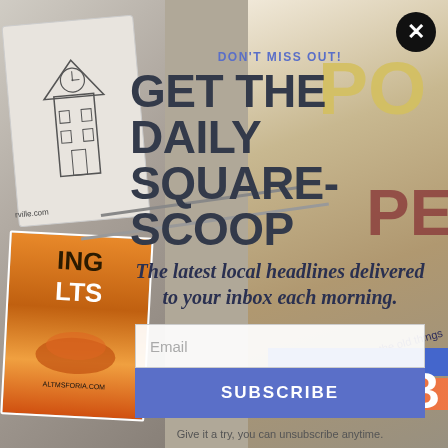[Figure (illustration): Background collage of newspaper images, clock tower sketch, colorful posters, and magazine covers]
DON'T MISS OUT!
GET THE DAILY SQUARE-SCOOP
The latest local headlines delivered to your inbox each morning.
Email
SUBSCRIBE
Give it a try, you can unsubscribe anytime.